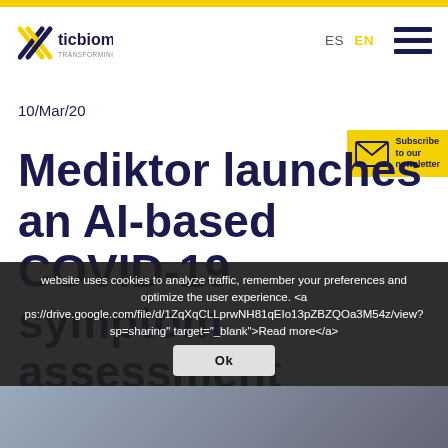ticbiomed | ES  EN | navigation menu
10/Mar/20
Mediktor launches an AI-based COVID-19 symptom assessment
Subscribe to our newsletter
website uses cookies to analyze traffic, remember your preferences and optimize the user experience. <a https://drive.google.com/file/d/1ZqXqCLLprwNH81qEIo13pZBZQOa3M54z/view?sp=sharing" target="_blank">Read more</a>
[Figure (photo): Bottom portion of a photo showing hands with a smartphone/tablet device]